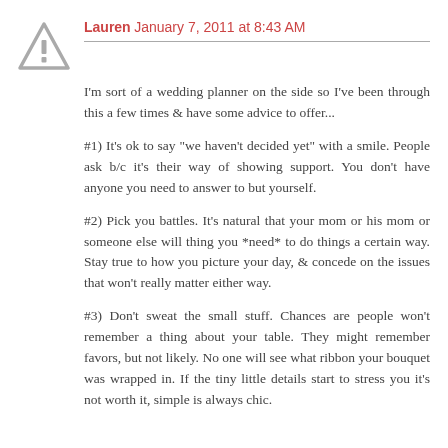Lauren January 7, 2011 at 8:43 AM
I'm sort of a wedding planner on the side so I've been through this a few times & have some advice to offer...
#1) It's ok to say "we haven't decided yet" with a smile. People ask b/c it's their way of showing support. You don't have anyone you need to answer to but yourself.
#2) Pick you battles. It's natural that your mom or his mom or someone else will thing you *need* to do things a certain way. Stay true to how you picture your day, & concede on the issues that won't really matter either way.
#3) Don't sweat the small stuff. Chances are people won't remember a thing about your table. They might remember favors, but not likely. No one will see what ribbon your bouquet was wrapped in. If the tiny little details start to stress you it's not worth it, simple is always chic.